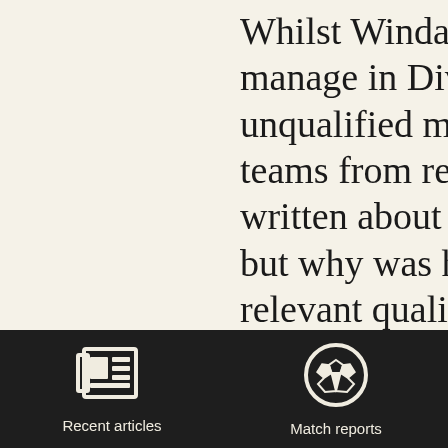Whilst Windass has the manage in Divisions 2 unqualified managers t teams from relegation written about Alan Sh but why was he allowe relevant qualifications Southgate will have co qualifications but not t finished. Why do the s game allow clubs to br
[Figure (other): Navigation bar with two icons: a newspaper/recent articles icon on the left and a soccer ball/match reports icon on the right, on a dark background]